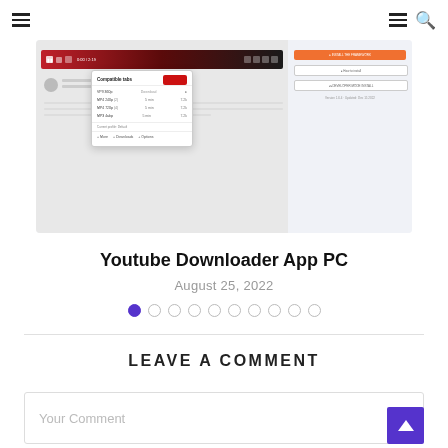Navigation header with hamburger menus and search icon
[Figure (screenshot): Screenshot of a YouTube downloader application on a PC, showing a video player, dropdown menu with download options, and an orange install button on the right side panel.]
Youtube Downloader App PC
August 25, 2022
Pagination dots: 10 dots, first one active (filled purple)
LEAVE A COMMENT
Your Comment